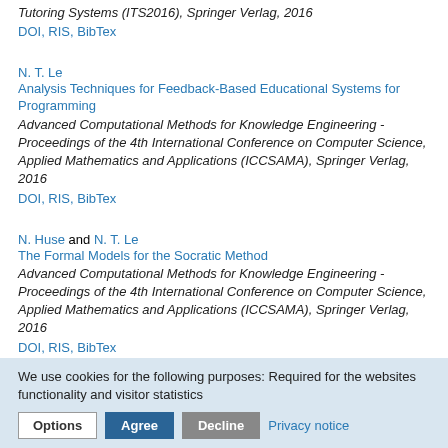Tutoring Systems (ITS2016), Springer Verlag, 2016
DOI, RIS, BibTex
N. T. Le
Analysis Techniques for Feedback-Based Educational Systems for Programming
Advanced Computational Methods for Knowledge Engineering - Proceedings of the 4th International Conference on Computer Science, Applied Mathematics and Applications (ICCSAMA), Springer Verlag, 2016
DOI, RIS, BibTex
N. Huse and N. T. Le
The Formal Models for the Socratic Method
Advanced Computational Methods for Knowledge Engineering - Proceedings of the 4th International Conference on Computer Science, Applied Mathematics and Applications (ICCSAMA), Springer Verlag, 2016
DOI, RIS, BibTex
We use cookies for the following purposes: Required for the websites functionality and visitor statistics
Options | Agree | Decline | Privacy notice